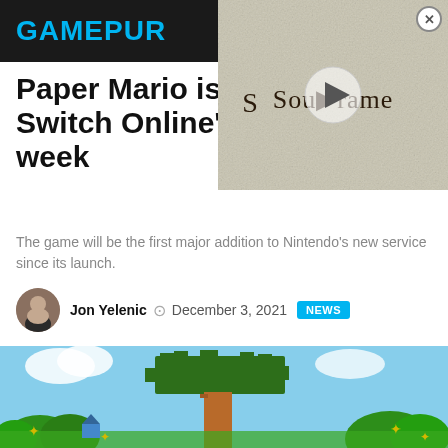GAMEPUR
[Figure (screenshot): Video overlay showing Soulframe game title with play button and close button]
Paper Mario is joining Switch Online's N64 library this week
The game will be the first major addition to Nintendo's new service since its launch.
Jon Yelenic  December 3, 2021  NEWS
[Figure (screenshot): Paper Mario N64 game screenshot showing colorful pixel-art landscape with trees and green bushes]